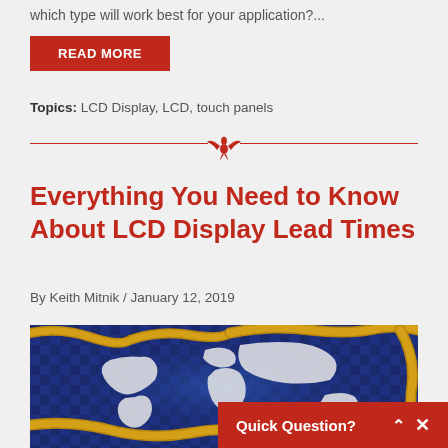which type will work best for your application?...
READ MORE
Topics: LCD Display, LCD, touch panels
[Figure (logo): Red phoenix/eagle logo divider with horizontal red lines on each side]
Everything You Need to Know About LCD Display Lead Times
By Keith Mitnik / January 12, 2019
[Figure (illustration): 3D illustration of a world map on blue checkered background with gold/brown gear chain track winding across it, representing global supply chain]
Quick Question?